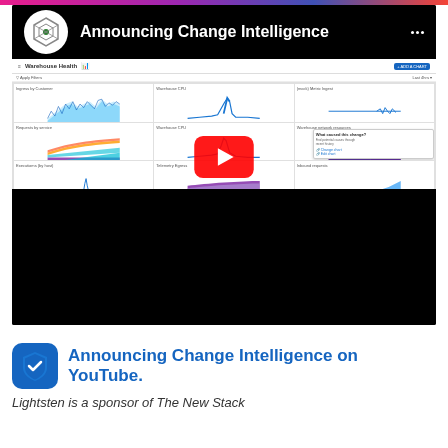[Figure (screenshot): YouTube video thumbnail showing 'Announcing Change Intelligence' with Lightstep logo, dashboard screenshot of Warehouse Health metrics with multiple time-series charts, and a YouTube play button overlay]
[Figure (logo): Shield icon with checkmark - Lightstep or security app icon]
Announcing Change Intelligence on YouTube.
Lightsten is a sponsor of The New Stack